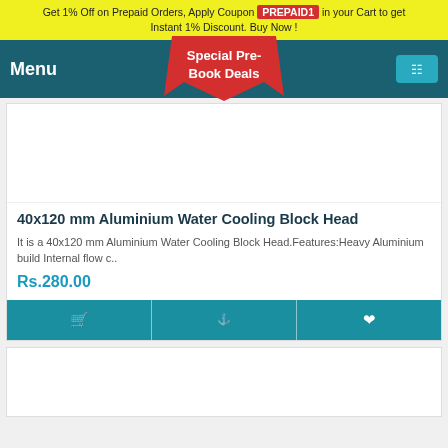Get 1% Off on Prepaid Orders, Apply Coupon PREPAID1 in your Cart to get Instant 1% Discount. Buy Now !
[Figure (screenshot): Navigation bar with Menu label, Special Pre-Book Deals badge in red, and cart icon on teal background]
40x120 mm Aluminium Water Cooling Block Head
It is a 40x120 mm Aluminium Water Cooling Block Head.Features:Heavy Aluminium build Internal flow c..
Rs.280.00
[Figure (screenshot): Product action buttons row with three teal buttons showing icons]